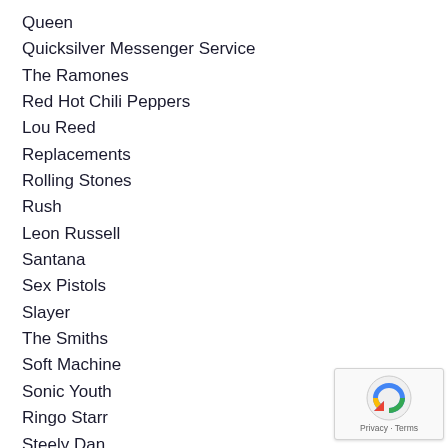Queen
Quicksilver Messenger Service
The Ramones
Red Hot Chili Peppers
Lou Reed
Replacements
Rolling Stones
Rush
Leon Russell
Santana
Sex Pistols
Slayer
The Smiths
Soft Machine
Sonic Youth
Ringo Starr
Steely Dan